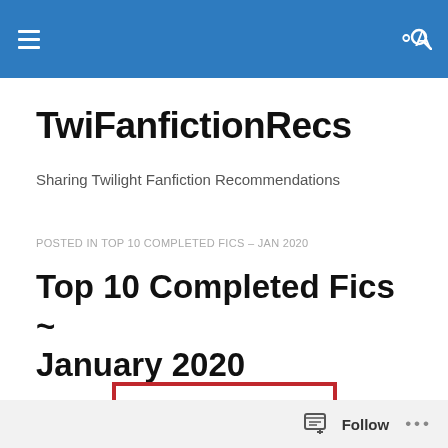TwiFanfictionRecs — navigation header bar
TwiFanfictionRecs
Sharing Twilight Fanfiction Recommendations
POSTED IN TOP 10 COMPLETED FICS – JAN 2020
Top 10 Completed Fics ~ January 2020
[Figure (illustration): Decorative 'TOP 10' graphic with bold red numbers inside a red-bordered box]
Follow ...